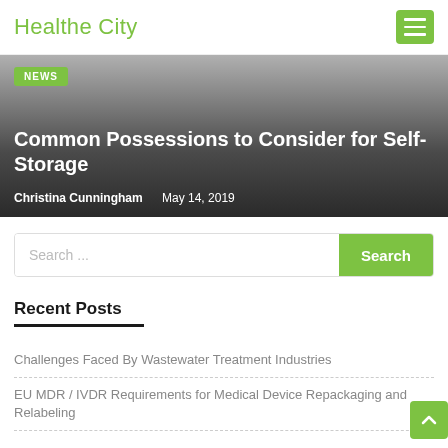Healthe City
[Figure (screenshot): Hero banner with gradient background showing article: 'Common Possessions to Consider for Self-Storage' by Christina Cunningham, May 14, 2019, with NEWS badge]
Search ...
Recent Posts
Challenges Faced By Wastewater Treatment Industries
EU MDR / IVDR Requirements for Medical Device Repackaging and Relabeling